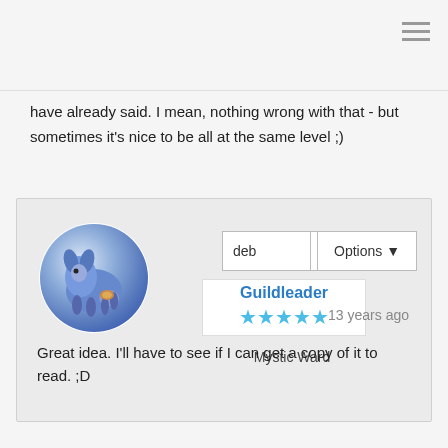have already said. I mean, nothing wrong with that - but sometimes it's nice to be all at the same level ;)
deb | Options | Guildleader ★★★★★ Mystic Ward | 13 years ago | Great idea. I'll have to see if I can get a copy of it to read. ;D